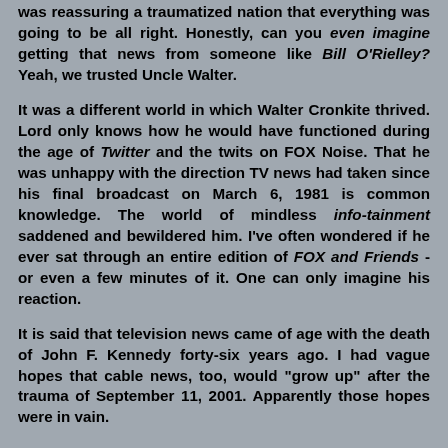was reassuring a traumatized nation that everything was going to be all right. Honestly, can you even imagine getting that news from someone like Bill O'Rielley? Yeah, we trusted Uncle Walter.
It was a different world in which Walter Cronkite thrived. Lord only knows how he would have functioned during the age of Twitter and the twits on FOX Noise. That he was unhappy with the direction TV news had taken since his final broadcast on March 6, 1981 is common knowledge. The world of mindless info-tainment saddened and bewildered him. I've often wondered if he ever sat through an entire edition of FOX and Friends - or even a few minutes of it. One can only imagine his reaction.
It is said that television news came of age with the death of John F. Kennedy forty-six years ago. I had vague hopes that cable news, too, would "grow up" after the trauma of September 11, 2001. Apparently those hopes were in vain.